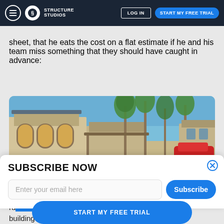Structure Studios | LOG IN | START MY FREE TRIAL
sheet, that he eats the cost on a flat estimate if he and his team miss something that they should have caught in advance:
[Figure (photo): Exterior photo of a luxury home with tall palm trees, a covered patio area, pool visible, and a red sports car, photographed at dusk with a blue sky.]
SUBSCRIBE NOW
Enter your email here
build a po... [the pool design] and we end up ru... then that's their fault. But if we're building an exact design I
START MY FREE TRIAL